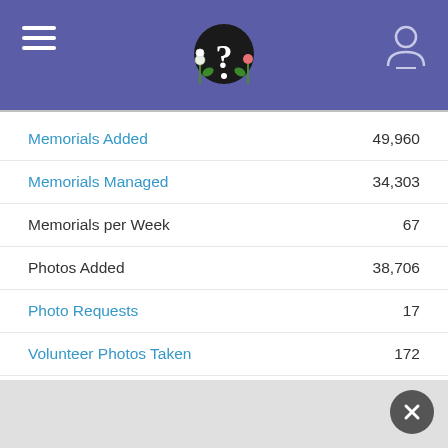[Figure (screenshot): App header bar with purple background, hamburger menu on left, question mark with flowers logo in center, user profile icon on right]
Memorials Added   49,960
Memorials Managed   34,303
Memorials per Week   67
Photos Added   38,706
Photo Requests   17
Volunteer Photos Taken   172
Flowers Added   4,034
Virtual Cemeteries   25
Fame Ratings   17
Followers   78